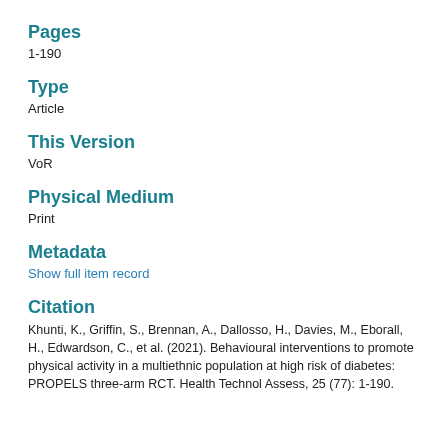Pages
1-190
Type
Article
This Version
VoR
Physical Medium
Print
Metadata
Show full item record
Citation
Khunti, K., Griffin, S., Brennan, A., Dallosso, H., Davies, M., Eborall, H., Edwardson, C., et al. (2021). Behavioural interventions to promote physical activity in a multiethnic population at high risk of diabetes: PROPELS three-arm RCT. Health Technol Assess, 25 (77): 1-190.